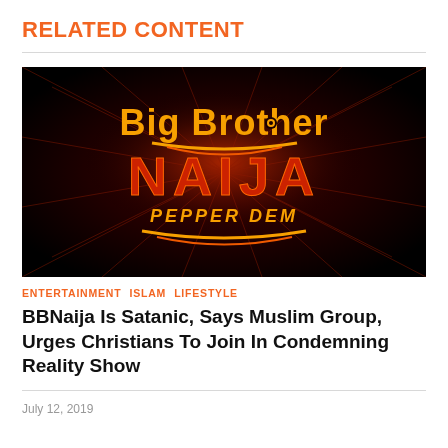RELATED CONTENT
[Figure (photo): Big Brother Naija Pepper Dem logo on a dark red burst background]
ENTERTAINMENT  ISLAM  LIFESTYLE
BBNaija Is Satanic, Says Muslim Group, Urges Christians To Join In Condemning Reality Show
July 12, 2019